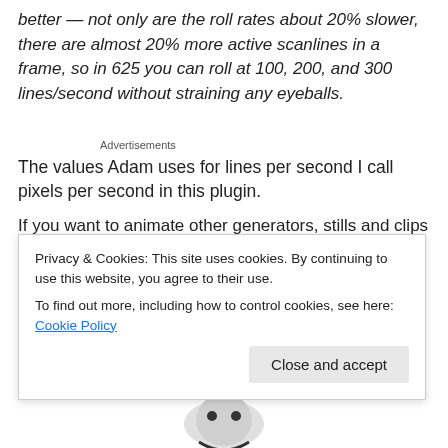better — not only are the roll rates about 20% slower, there are almost 20% more active scanlines in a frame, so in 625 you can roll at 100, 200, and 300 lines/second without straining any eyeballs.
Advertisements
The values Adam uses for lines per second I call pixels per second in this plugin.
If you want to animate other generators, stills and clips
Privacy & Cookies: This site uses cookies. By continuing to use this website, you agree to their use.
To find out more, including how to control cookies, see here: Cookie Policy
Close and accept